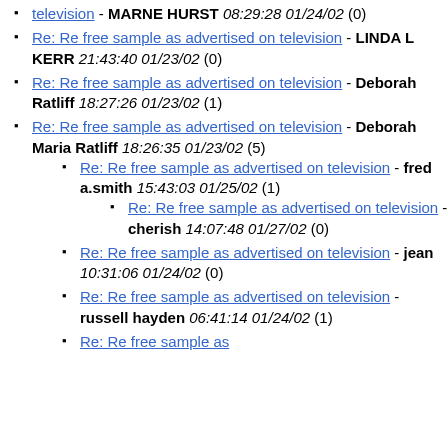Re: Re free sample as advertised on television - MARNE HURST 08:29:28 01/24/02 (0)
Re: Re free sample as advertised on television - LINDA L KERR 21:43:40 01/23/02 (0)
Re: Re free sample as advertised on television - Deborah Ratliff 18:27:26 01/23/02 (1)
Re: Re free sample as advertised on television - Deborah Maria Ratliff 18:26:35 01/23/02 (5)
Re: Re free sample as advertised on television - fred a.smith 15:43:03 01/25/02 (1)
Re: Re free sample as advertised on television - cherish 14:07:48 01/27/02 (0)
Re: Re free sample as advertised on television - jean 10:31:06 01/24/02 (0)
Re: Re free sample as advertised on television - russell hayden 06:41:14 01/24/02 (1)
Re: Re free sample as advertised on television